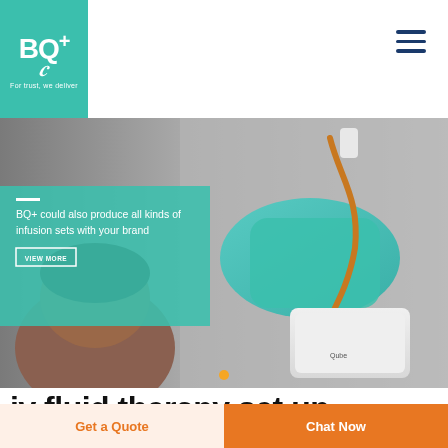[Figure (logo): BQ+ logo on teal background with tagline 'For trust, we deliver']
[Figure (photo): Medical professional wearing teal gloves handling an IV infusion set with amber tubing and a white device. Teal overlay banner reads: BQ+ could also produce all kinds of infusion sets with your brand, with a VIEW MORE button.]
iv fluid therapy set up
Get a Quote
Chat Now